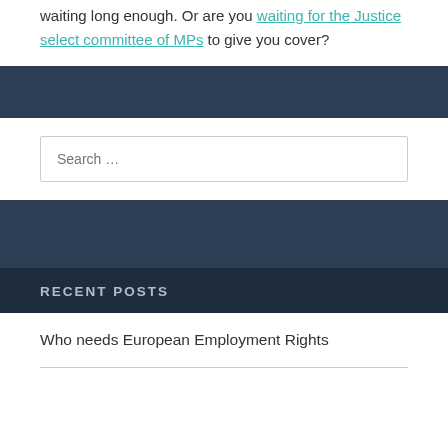report might say. Tell us what it does say. We've been waiting long enough. Or are you waiting for the Justice select committee of MPs to give you cover?
Search …
RECENT POSTS
Who needs European Employment Rights